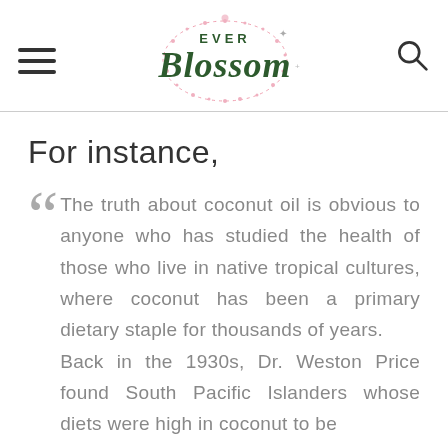Ever Blossom
For instance,
The truth about coconut oil is obvious to anyone who has studied the health of those who live in native tropical cultures, where coconut has been a primary dietary staple for thousands of years.
Back in the 1930s, Dr. Weston Price found South Pacific Islanders whose diets were high in coconut to be